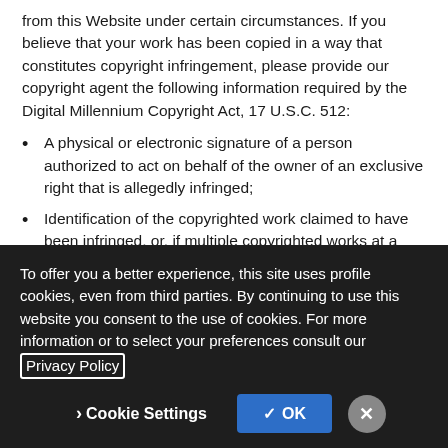from this Website under certain circumstances. If you believe that your work has been copied in a way that constitutes copyright infringement, please provide our copyright agent the following information required by the Digital Millennium Copyright Act, 17 U.S.C. 512:
A physical or electronic signature of a person authorized to act on behalf of the owner of an exclusive right that is allegedly infringed;
Identification of the copyrighted work claimed to have been infringed, or, if multiple copyrighted works at a single online site are covered by a single notification, a representative list of such works at that site;
Identification of the material that is claimed to be infringing or to be the subject of infringing activity, and information reasonably sufficient to permit us to locate the material;
To offer you a better experience, this site uses profile cookies, even from third parties. By continuing to use this website you consent to the use of cookies. For more information or to select your preferences consult our Privacy Policy